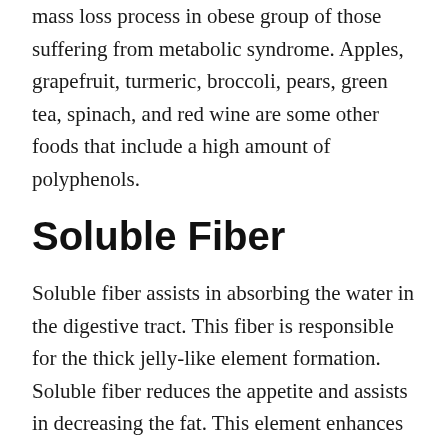mass loss process in obese group of those suffering from metabolic syndrome. Apples, grapefruit, turmeric, broccoli, pears, green tea, spinach, and red wine are some other foods that include a high amount of polyphenols.
Soluble Fiber
Soluble fiber assists in absorbing the water in the digestive tract. This fiber is responsible for the thick jelly-like element formation. Soluble fiber reduces the appetite and assists in decreasing the fat. This element enhances the fullness hormone such as GLP-1. They also assist in dipping the level of hunger hormone named ghrelin. This fiber type